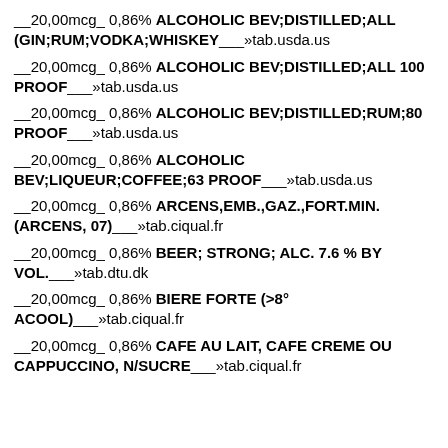__20,00mcg_ 0,86% ALCOHOLIC BEV;DISTILLED;ALL (GIN;RUM;VODKA;WHISKEY___»tab.usda.us
__20,00mcg_ 0,86% ALCOHOLIC BEV;DISTILLED;ALL 100 PROOF___»tab.usda.us
__20,00mcg_ 0,86% ALCOHOLIC BEV;DISTILLED;RUM;80 PROOF___»tab.usda.us
__20,00mcg_ 0,86% ALCOHOLIC BEV;LIQUEUR;COFFEE;63 PROOF___»tab.usda.us
__20,00mcg_ 0,86% ARCENS,EMB.,GAZ.,FORT.MIN.(ARCENS, 07)___»tab.ciqual.fr
__20,00mcg_ 0,86% BEER; STRONG; ALC. 7.6 % BY VOL.___»tab.dtu.dk
__20,00mcg_ 0,86% BIERE FORTE (>8° ACOOL)___»tab.ciqual.fr
__20,00mcg_ 0,86% CAFE AU LAIT, CAFE CREME OU CAPPUCCINO, N/SUCRE___»tab.ciqual.fr